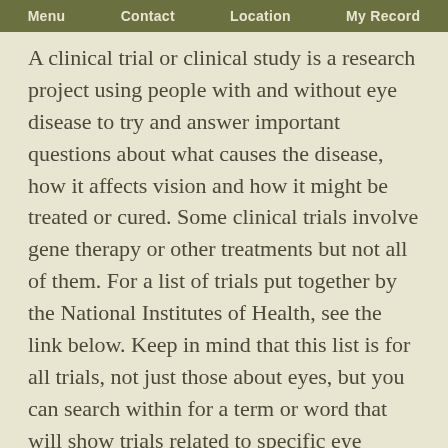Menu | Contact | Location | My Record
A clinical trial or clinical study is a research project using people with and without eye disease to try and answer important questions about what causes the disease, how it affects vision and how it might be treated or cured. Some clinical trials involve gene therapy or other treatments but not all of them. For a list of trials put together by the National Institutes of Health, see the link below. Keep in mind that this list is for all trials, not just those about eyes, but you can search within for a term or word that will show trials related to specific eye disorders, if there are any.